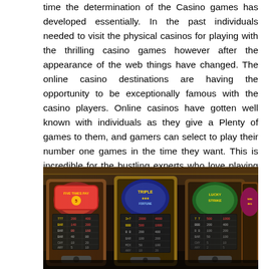time the determination of the Casino games has developed essentially. In the past individuals needed to visit the physical casinos for playing with the thrilling casino games however after the appearance of the web things have changed. The online casino destinations are having the opportunity to be exceptionally famous with the casino players. Online casinos have gotten well known with individuals as they give a Plenty of games to them, and gamers can select to play their number one games in the time they want. This is incredible for the bustling experts who love playing slot games, roulette or blackjack anyway have rushed existences. People who are intrigued to join online casino websites can look at the net for data.
[Figure (photo): A row of casino slot machines including 'Five Times Pay' and 'Triple' machines, photographed in a casino floor setting with colorful displays and pay tables visible.]